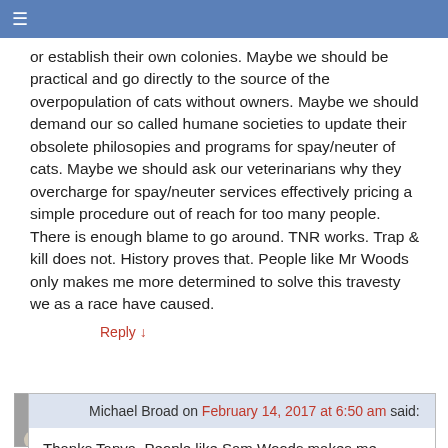≡
or establish their own colonies. Maybe we should be practical and go directly to the source of the overpopulation of cats without owners. Maybe we should demand our so called humane societies to update their obsolete philosopies and programs for spay/neuter of cats. Maybe we should ask our veterinarians why they overcharge for spay/neuter services effectively pricing a simple procedure out of reach for too many people. There is enough blame to go around. TNR works. Trap & kill does not. History proves that. People like Mr Woods only makes me more determined to solve this travesty we as a race have caused.
Reply ↓
Michael Broad on February 14, 2017 at 6:50 am said:
Thanks Tanya. People like Sam Woods makes me dislike the human race as well.
Reply ↓